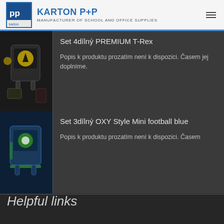KARTON P+P — MANUFACTURER OF SCHOOL AND OFFICE SUPPLIES
Set 4dílný PREMIUM T-Rex
Popis k produktu prozatím není k dispozici. Časem jej doplníme.
[Figure (photo): School bag set with T-Rex design]
Set 3dílný OXY Style Mini football blue
Popis k produktu prozatím není k dispozici. Časem
[Figure (photo): Football blue school bag set]
Helpful links
Product catalogue
Contacts